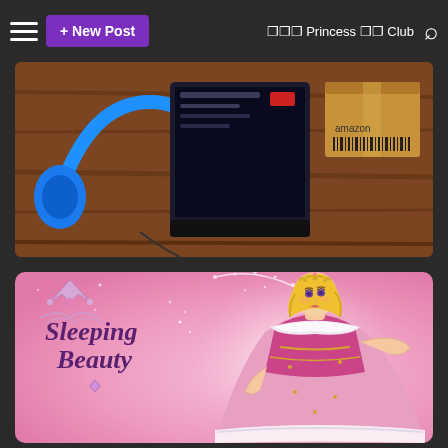☰  + New Post   ??? Princess ?? Club 🔍
[Figure (photo): Top-down view of blue headphones, a tablet/laptop, and an Amazon package on a wooden table surface]
[Figure (illustration): Sleeping Beauty Disney princess Aurora in pink ball gown with golden tiara, with 'Sleeping Beauty' script text and crown logo on pink background]